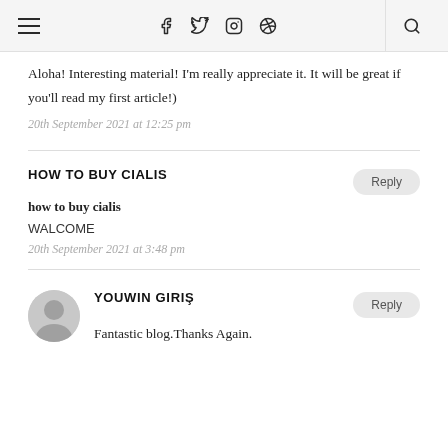☰   f  Twitter  Instagram  Pinterest   🔍
Aloha! Interesting material! I'm really appreciate it. It will be great if you'll read my first article!)
20th September 2021 at 12:25 pm
HOW TO BUY CIALIS
how to buy cialis
WALCOME
20th September 2021 at 3:48 pm
YOUWIN GIRIŞ
Fantastic blog.Thanks Again.